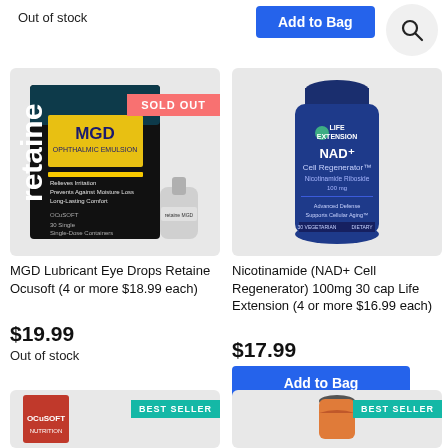Out of stock
Add to Bag
[Figure (screenshot): Search icon in a circle]
[Figure (photo): MGD Lubricant Eye Drops Retaine Ocusoft product box with SOLD OUT badge]
[Figure (photo): Life Extension NAD+ Cell Regenerator 100mg 30 cap blue bottle]
MGD Lubricant Eye Drops Retaine Ocusoft (4 or more $18.99 each)
$19.99
Out of stock
Nicotinamide (NAD+ Cell Regenerator) 100mg 30 cap Life Extension (4 or more $16.99 each)
$17.99
Add to Bag
[Figure (photo): Product box with BEST SELLER badge (partially visible)]
[Figure (photo): Supplement bottle with BEST SELLER badge (partially visible)]